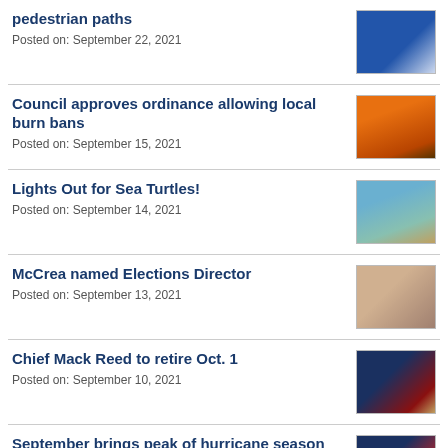pedestrian paths
Posted on: September 22, 2021
Council approves ordinance allowing local burn bans
Posted on: September 15, 2021
Lights Out for Sea Turtles!
Posted on: September 14, 2021
McCrea named Elections Director
Posted on: September 13, 2021
Chief Mack Reed to retire Oct. 1
Posted on: September 10, 2021
September brings peak of hurricane season
Posted on: September 10, 2021